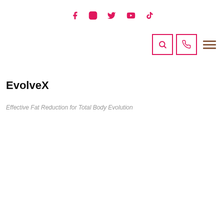Social media icons: Facebook, Instagram, Twitter, YouTube, TikTok
[Figure (other): Navigation bar with search icon box, phone icon box, and hamburger menu]
EvolveX
Effective Fat Reduction for Total Body Evolution